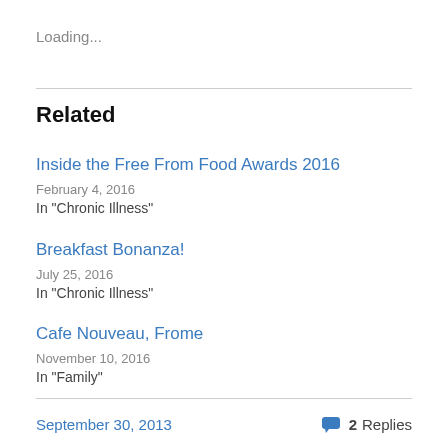Loading...
Related
Inside the Free From Food Awards 2016
February 4, 2016
In "Chronic Illness"
Breakfast Bonanza!
July 25, 2016
In "Chronic Illness"
Cafe Nouveau, Frome
November 10, 2016
In "Family"
September 30, 2013   2 Replies